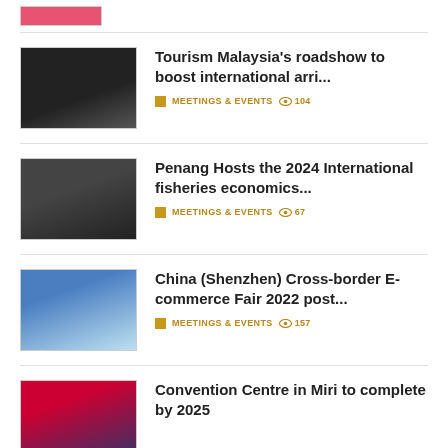[Figure (photo): Small pink/red banner image at the top]
Tourism Malaysia's roadshow to boost international arri...
MEETINGS & EVENTS 👁 104
Penang Hosts the 2024 International fisheries economics...
MEETINGS & EVENTS 👁 67
China (Shenzhen) Cross-border E-commerce Fair 2022 post...
MEETINGS & EVENTS 👁 157
Convention Centre in Miri to complete by 2025